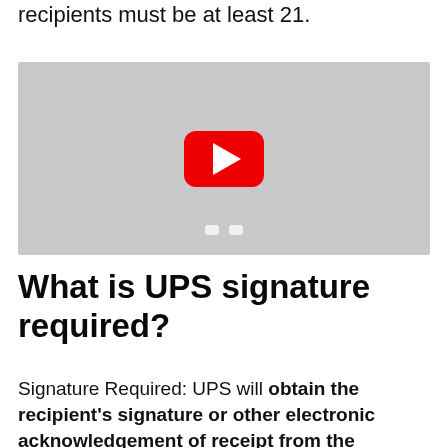recipients must be at least 21.
[Figure (screenshot): YouTube video thumbnail placeholder showing a grey background with a YouTube play button (red rounded rectangle with white play arrow) in the center, and two white rounded rectangle shapes at the bottom of the thumbnail.]
What is UPS signature required?
Signature Required: UPS will obtain the recipient's signature or other electronic acknowledgement of receipt from the recipient when this option is selected. You